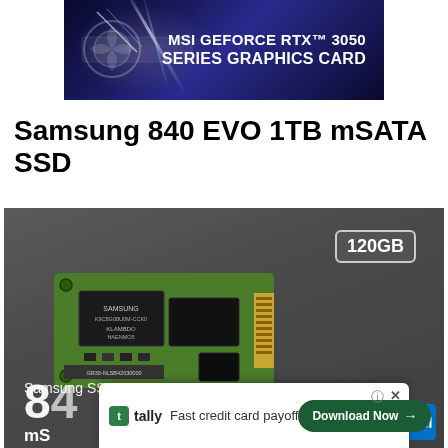[Figure (photo): MSI GeForce RTX 3050 Series Graphics Card advertisement banner with dark blue/purple background and light beam effects]
Samsung 840 EVO 1TB mSATA SSD
[Figure (photo): Samsung 840 EVO SSD product box with dark gray background, showing mSATA SSD PCB, 120GB capacity badge, Samsung SSD branding, model number 840, and a Tally advertisement overlay at the bottom]
tally - Fast credit card payoff - Download Now